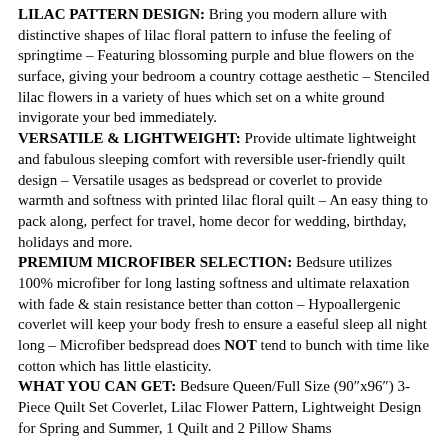LILAC PATTERN DESIGN: Bring you modern allure with distinctive shapes of lilac floral pattern to infuse the feeling of springtime – Featuring blossoming purple and blue flowers on the surface, giving your bedroom a country cottage aesthetic – Stenciled lilac flowers in a variety of hues which set on a white ground invigorate your bed immediately.
VERSATILE & LIGHTWEIGHT: Provide ultimate lightweight and fabulous sleeping comfort with reversible user-friendly quilt design – Versatile usages as bedspread or coverlet to provide warmth and softness with printed lilac floral quilt – An easy thing to pack along, perfect for travel, home decor for wedding, birthday, holidays and more.
PREMIUM MICROFIBER SELECTION: Bedsure utilizes 100% microfiber for long lasting softness and ultimate relaxation with fade & stain resistance better than cotton – Hypoallergenic coverlet will keep your body fresh to ensure a easeful sleep all night long – Microfiber bedspread does NOT tend to bunch with time like cotton which has little elasticity.
WHAT YOU CAN GET: Bedsure Queen/Full Size (90"x96") 3-Piece Quilt Set Coverlet, Lilac Flower Pattern, Lightweight Design for Spring and Summer, 1 Quilt and 2 Pillow Shams
Related products